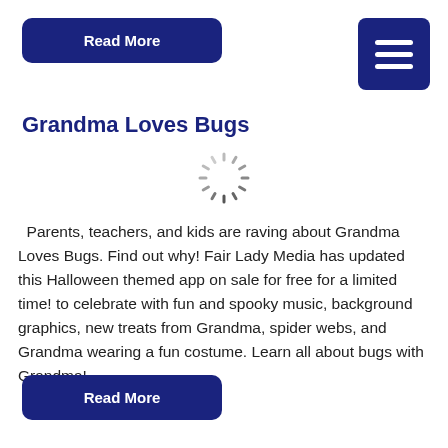Read More
[Figure (other): Hamburger menu icon - three white horizontal lines on dark blue square background]
Grandma Loves Bugs
[Figure (other): Loading spinner / circular progress indicator graphic in grey]
Parents, teachers, and kids are raving about Grandma Loves Bugs. Find out why! Fair Lady Media has updated this Halloween themed app on sale for free for a limited time! to celebrate with fun and spooky music, background graphics, new treats from Grandma, spider webs, and Grandma wearing a fun costume. Learn all about bugs with Grandma!…
Read More
[Truncated title for kids…